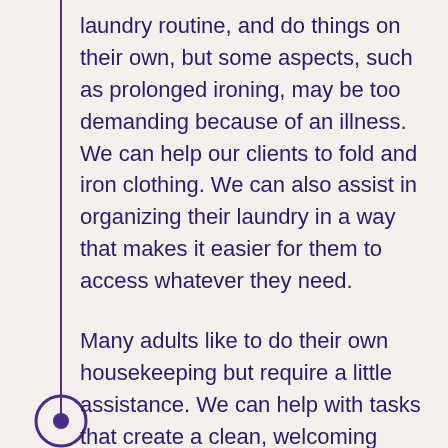laundry routine, and do things on their own, but some aspects, such as prolonged ironing, may be too demanding because of an illness. We can help our clients to fold and iron clothing. We can also assist in organizing their laundry in a way that makes it easier for them to access whatever they need.
Many adults like to do their own housekeeping but require a little assistance. We can help with tasks that create a clean, welcoming environment for each person. Discuss your needs with us, and we will